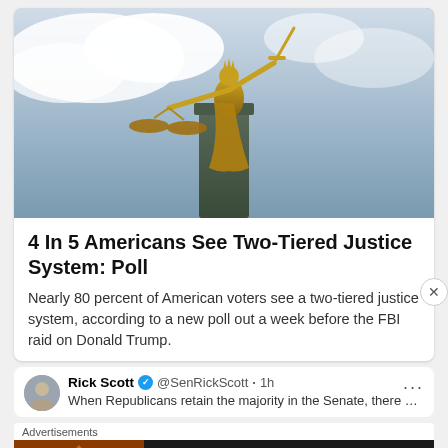[Figure (photo): Golden Lady Justice statue holding scales and sword against a cloudy sky background]
4 In 5 Americans See Two-Tiered Justice System: Poll
Nearly 80 percent of American voters see a two-tiered justice system, according to a new poll out a week before the FBI raid on Donald Trump.
Rick Scott @SenRickScott · 1h — When Republicans retain the majority in the Senate, there will be a
Advertisements
[Figure (screenshot): Seamless food delivery advertisement banner with pizza image, seamless logo in red pill, and ORDER NOW button]